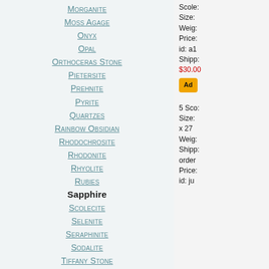Morganite
Moss Agage
Onyx
Opal
Orthoceras Stone
Pietersite
Prehnite
Pyrite
Quartzes
Rainbow Obsidian
Rhodochrosite
Rhodonite
Rhyolite
Rubies
Sapphire
Scolecite
Selenite
Seraphinite
Sodalite
Tiffany Stone
Tigers Eye
Tiger Iron
Tourmaline
Variscite
Vesuvianite
Scolecite Size: Weigh: Price: id: a1 Shipp: $30.00 Add
5 Scolecite Size: x 27 Weigh: Shipp: order Price: id: ju